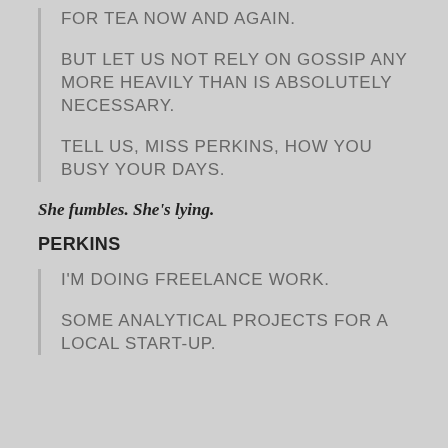FOR TEA NOW AND AGAIN.
BUT LET US NOT RELY ON GOSSIP ANY MORE HEAVILY THAN IS ABSOLUTELY NECESSARY.
TELL US, MISS PERKINS, HOW YOU BUSY YOUR DAYS.
She fumbles. She's lying.
PERKINS
I'M DOING FREELANCE WORK.
SOME ANALYTICAL PROJECTS FOR A LOCAL START-UP.